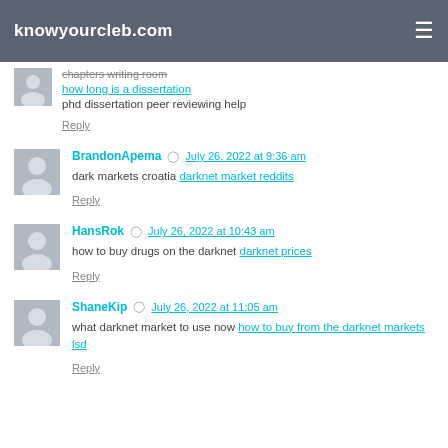knowyourcleb.com
chapters writing room
how long is a dissertation
phd dissertation peer reviewing help
Reply
BrandonApema · July 26, 2022 at 9:36 am
dark markets croatia darknet market reddits
Reply
HansRok · July 26, 2022 at 10:43 am
how to buy drugs on the darknet darknet prices
Reply
ShaneKip · July 26, 2022 at 11:05 am
what darknet market to use now how to buy from the darknet markets lsd
Reply